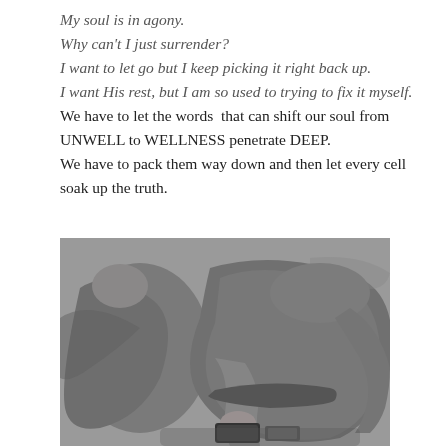My soul is in agony.
Why can't I just surrender?
I want to let go but I keep picking it right back up.
I want His rest, but I am so used to trying to fix it myself.
We have to let the words  that can shift our soul from UNWELL to WELLNESS penetrate DEEP.
We have to pack them way down and then let every cell soak up the truth.
[Figure (photo): Black and white photograph of a person (or persons) lying or seated in a distressed or resting position, wearing casual clothing, with a phone and other items visible on the ground.]